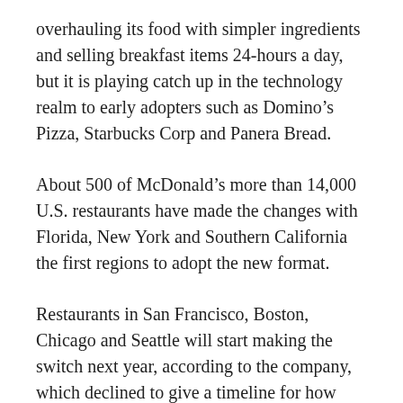overhauling its food with simpler ingredients and selling breakfast items 24-hours a day, but it is playing catch up in the technology realm to early adopters such as Domino's Pizza, Starbucks Corp and Panera Bread.
About 500 of McDonald's more than 14,000 U.S. restaurants have made the changes with Florida, New York and Southern California the first regions to adopt the new format.
Restaurants in San Francisco, Boston, Chicago and Seattle will start making the switch next year, according to the company, which declined to give a timeline for how long the changes will take to go nationwide.